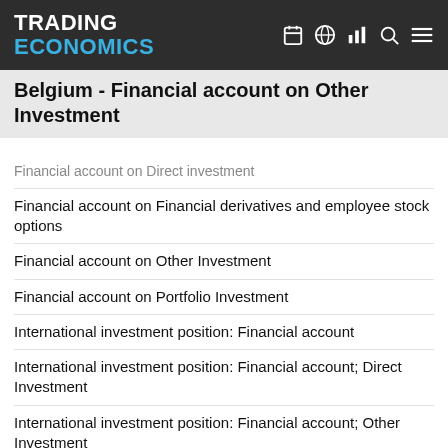TRADING ECONOMICS
Belgium - Financial account on Other Investment
Financial account on Direct investment
Financial account on Financial derivatives and employee stock options
Financial account on Other Investment
Financial account on Portfolio Investment
International investment position: Financial account
International investment position: Financial account; Direct Investment
International investment position: Financial account; Other Investment
International investment position: Financial account; Portfolio Investment
International investment position: Financial account; Reserve assets
Main Balance of Payments and International Investment Position items as share of GDP (BPM6) in partnership with Rest of the world